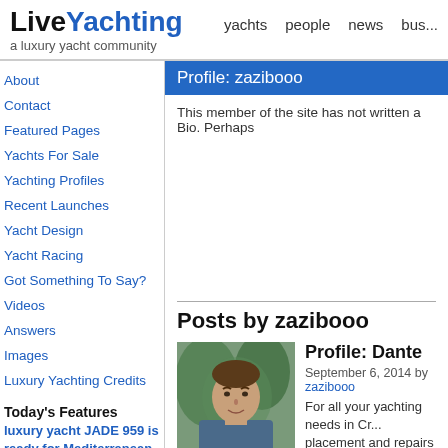LiveYachting — a luxury yacht community
About
Contact
Featured Pages
Yachts For Sale
Yachting Profiles
Recent Launches
Yacht Design
Yacht Racing
Got Something To Say?
Videos
Answers
Images
Luxury Yachting Credits
Today's Features
luxury yacht JADE 959 is ready for Mediterranean charter
Popular Subjects
Profile: zazibooo
This member of the site has not written a Bio. Perhaps
Posts by zazibooo
[Figure (photo): Photo of Dante, a man outdoors in front of trees]
Profile: Dante
September 6, 2014 by zazibooo
For all your yachting needs in Cr... placement and repairs and crew
Subjects: Croatia | Comments (0